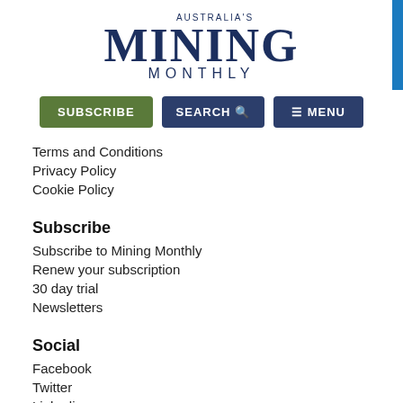[Figure (logo): Australia's Mining Monthly logo with large serif MINING text and MONTHLY in spaced capitals]
[Figure (screenshot): Navigation buttons: SUBSCRIBE (green), SEARCH with magnifier icon (dark blue), hamburger MENU (dark blue)]
Terms and Conditions
Privacy Policy
Cookie Policy
Subscribe
Subscribe to Mining Monthly
Renew your subscription
30 day trial
Newsletters
Social
Facebook
Twitter
Linkedin